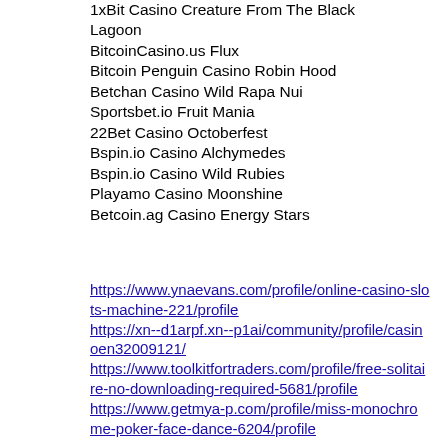1xBit Casino Creature From The Black Lagoon
BitcoinCasino.us Flux
Bitcoin Penguin Casino Robin Hood
Betchan Casino Wild Rapa Nui
Sportsbet.io Fruit Mania
22Bet Casino Octoberfest
Bspin.io Casino Alchymedes
Bspin.io Casino Wild Rubies
Playamo Casino Moonshine
Betcoin.ag Casino Energy Stars
https://www.ynaevans.com/profile/online-casino-slots-machine-221/profile
https://xn--d1arpf.xn--p1ai/community/profile/casinoen32009121/
https://www.toolkitfortraders.com/profile/free-solitaire-no-downloading-required-5681/profile
https://www.getmya-p.com/profile/miss-monochrome-poker-face-dance-6204/profile